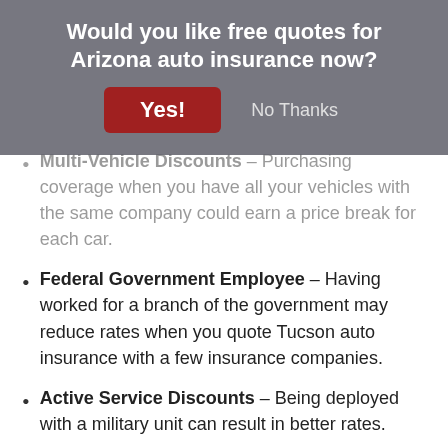Would you like free quotes for Arizona auto insurance now?
Multi-Vehicle Discounts – Purchasing coverage when you have all your vehicles with the same company could earn a price break for each car.
Federal Government Employee – Having worked for a branch of the government may reduce rates when you quote Tucson auto insurance with a few insurance companies.
Active Service Discounts – Being deployed with a military unit can result in better rates.
Discounts for New Vehicles – Buying a new car model is cheaper due to better safety requirements for newer models.